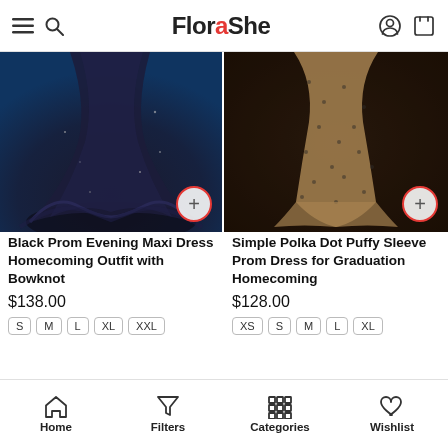FloraShe
[Figure (photo): Black prom evening maxi dress product photo - dark navy tulle gown]
Black Prom Evening Maxi Dress Homecoming Outfit with Bowknot
$138.00
S  M  L  XL  XXL
[Figure (photo): Simple polka dot puffy sleeve prom dress product photo - champagne/beige dotted dress]
Simple Polka Dot Puffy Sleeve Prom Dress for Graduation Homecoming
$128.00
XS  S  M  L  XL
[Figure (photo): Partial product photo - woman in white dress with greenery]
[Figure (photo): Partial product photo - woman in dark setting]
Home  Filters  Categories  Wishlist